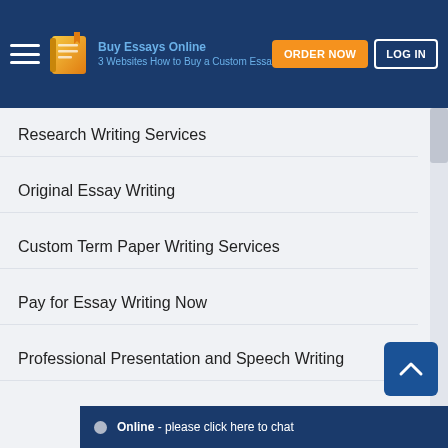Buy Essays Online — ORDER NOW / LOG IN
Research Writing Services
Original Essay Writing
Custom Term Paper Writing Services
Pay for Essay Writing Now
Professional Presentation and Speech Writing
Online - please click here to chat